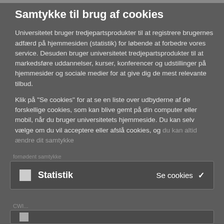Samtykke til brug af cookies
Universitetet bruger tredjepartsprodukter til at registrere brugernes adfærd på hjemmesiden (statistik) for løbende at forbedre vores service. Desuden bruger universitetet tredjepartsprodukter til at markedsføre uddannelser, kurser, konferencer og udstillinger på hjemmesider og sociale medier for at give dig de mest relevante tilbud.
Klik på "Se cookies" for at se en liste over udbyderne af de forskellige cookies, som kan blive gemt på din computer eller mobil, når du bruger universitetets hjemmeside. Du kan selv vælge om du vil acceptere eller afslå cookies, og du kan altid ændre dit samtykke
| Statistik | Se cookies |